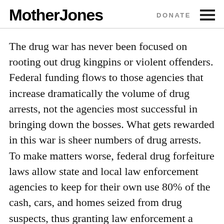Mother Jones  DONATE
The drug war has never been focused on rooting out drug kingpins or violent offenders. Federal funding flows to those agencies that increase dramatically the volume of drug arrests, not the agencies most successful in bringing down the bosses. What gets rewarded in this war is sheer numbers of drug arrests. To make matters worse, federal drug forfeiture laws allow state and local law enforcement agencies to keep for their own use 80% of the cash, cars, and homes seized from drug suspects, thus granting law enforcement a direct monetary interest in the profitability of the drug market.